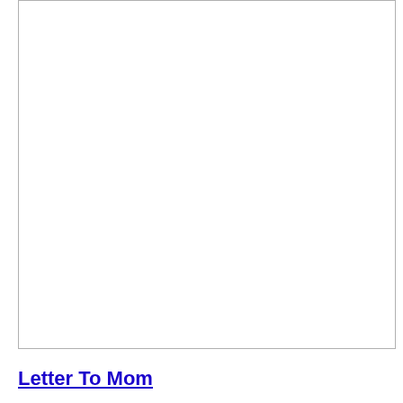[Figure (other): White blank rectangular image area with a thin gray border]
Letter To Mom